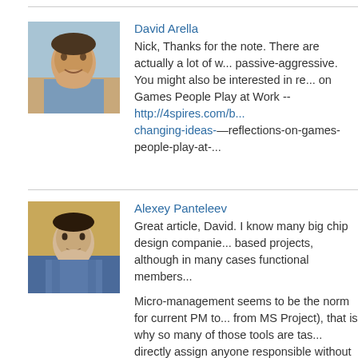[Figure (photo): Profile photo of David Arella - man smiling outdoors near beach]
David Arella
Nick,  Thanks for the note.  There are actually a lot of w... passive-aggressive.  You might also be interested in re... on Games People Play at Work --    http://4spires.com/b... changing-ideas-—reflections-on-games-people-play-at-...
[Figure (photo): Profile photo of Alexey Panteleev - young man with blue shirt]
Alexey Panteleev
Great article, David. I know many big chip design companie... based projects, although in many cases functional members...
Micro-management seems to be the norm for current PM to... from MS Project), that is why so many of those tools are tas... directly assign anyone responsible without asking any ques... agreements.
We've been trying to support the commitment-based model... building by building a project management layer on top of y... this out: http://yoxel.com/yoxel-personal.html
Email seems to be fitting CBPM very well, in my opinion, as...